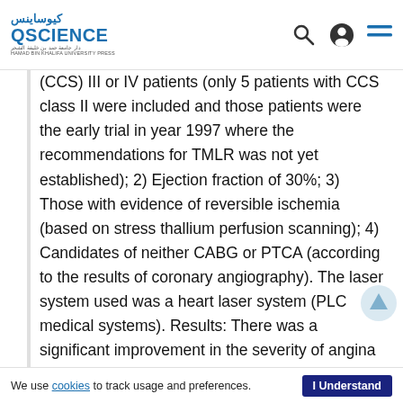QSCIENCE (كيوساينس) - Hamad Bin Khalifa University Press
(CCS) III or IV patients (only 5 patients with CCS class II were included and those patients were the early trial in year 1997 where the recommendations for TMLR was not yet established); 2) Ejection fraction of 30%; 3) Those with evidence of reversible ischemia (based on stress thallium perfusion scanning); 4) Candidates of neither CABG or PTCA (according to the results of coronary angiography). The laser system used was a heart laser system (PLC medical systems). Results: There was a significant improvement in the severity of angina as assessed by Canadian Cardiovascular Society grading after the procedure. Improvement was noticed after 1 month and the improvement was most significant after 3 months and then slightly declined after 6 months but still significant in comparison to the pre-procedural values (P <0.05). Also, there was a significant improvement in the grade of dys... assessed by the New York Heart Association...
We use cookies to track usage and preferences. I Understand